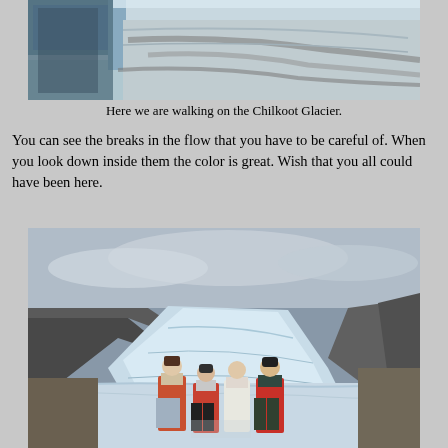[Figure (photo): Close-up view of the Chilkoot Glacier surface showing ice flow breaks and crevasses with debris on the ice.]
Here we are walking on the Chilkoot Glacier.
You can see the breaks in the flow that you have to be careful of. When you look down inside them the color is great. Wish that you all could have been here.
[Figure (photo): Four people wearing red vests standing on the Chilkoot Glacier with mountains and glacial ice visible in the background.]